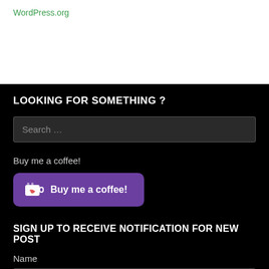WordPress.org
LOOKING FOR SOMETHING ?
Search ...
Buy me a coffee!
[Figure (illustration): Purple 'Buy me a coffee!' button with a coffee cup icon with a heart]
SIGN UP TO RECEIVE NOTIFICATION FOR NEW POST
Name
Reader